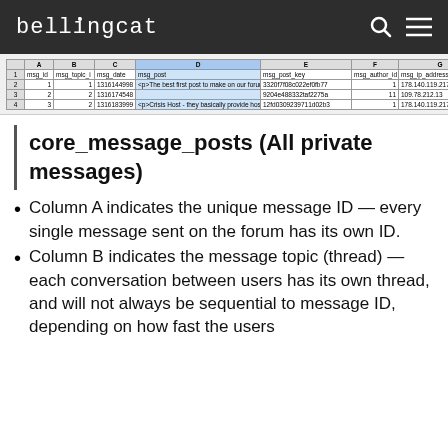bellingcat
[Figure (screenshot): Spreadsheet screenshot showing columns: msg_id, msg_topic_id, msg_date, msg_post, msg_post_key, msg_author_id, msg_ip_address with sample rows of data]
core_message_posts (All private messages)
Column A indicates the unique message ID — every single message sent on the forum has its own ID.
Column B indicates the message topic (thread) — each conversation between users has its own thread, and will not always be sequential to message ID, depending on how fast the users